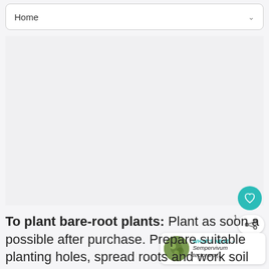Home
[Figure (photo): Large blank/empty image area placeholder]
To plant bare-root plants: Plant as soon as possible after purchase. Prepare suitable planting holes, spread roots and work soil among roots as you fill in. Water well and protect from direct sun until stable.